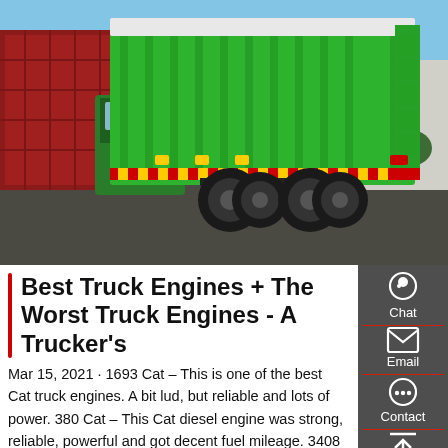[Figure (photo): A green dump truck photographed from the rear-side angle in a parking/industrial area. Red shipping containers visible on the left, buildings on the right, blue sky in background.]
Best Truck Engines + The Worst Truck Engines - A Trucker's
Mar 15, 2021 · 1693 Cat – This is one of the best Cat truck engines. A bit lud, but reliable and lots of power. 380 Cat – This Cat diesel engine was strong, reliable, powerful and got decent fuel mileage. 3408 Cat – This Class 8 truck engine was strong, was about 450 HP but truly put out around 550 HP. The fuel economy was poor.